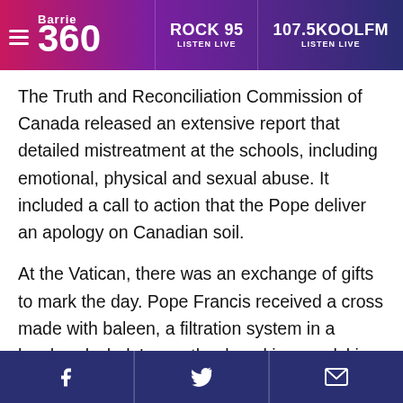Barrie 360 | ROCK 95 LISTEN LIVE | 107.5KOOLFM LISTEN LIVE
The Truth and Reconciliation Commission of Canada released an extensive report that detailed mistreatment at the schools, including emotional, physical and sexual abuse. It included a call to action that the Pope deliver an apology on Canadian soil.
At the Vatican, there was an exchange of gifts to mark the day. Pope Francis received a cross made with baleen, a filtration system in a bowhead whale's mouth, placed in a sealskin bag. He was also given a beaded leather stole, which is a liturgical vest, traditional handmade snowshoes, as well as a book of memories from residential school survivors.
Share on Facebook | Share on Twitter | Share via Email